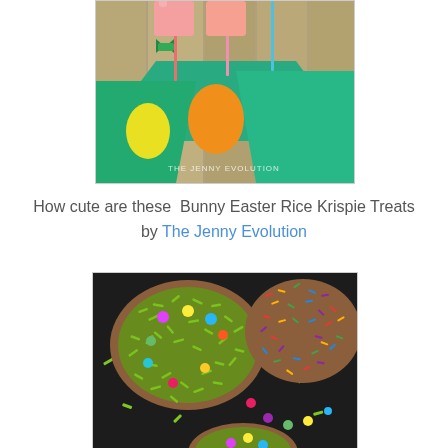[Figure (photo): Photo of bunny Easter Rice Krispie Treats on sticks with colorful Easter eggs on a teal/green background. Watermark reads 'THE JENNY EVOLUTION'.]
How cute are these  Bunny Easter Rice Krispie Treats by The Jenny Evolution
[Figure (photo): Photo of round cookie/treat decorated with green sprinkles and colorful candy dots, alongside another treat with rainbow sprinkles, on a dark background with scattered sprinkles.]